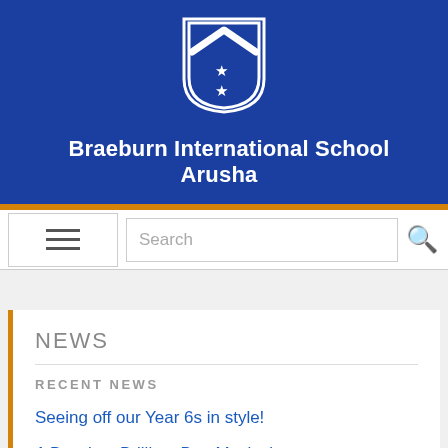[Figure (logo): Braeburn International School shield logo with chevron and two stars, white on blue background]
Braeburn International School Arusha
NEWS
RECENT NEWS
Seeing off our Year 6s in style!
A Buzzing, Brilliant Bee Musical
Rounding off an AMAZING Junior Person Year...